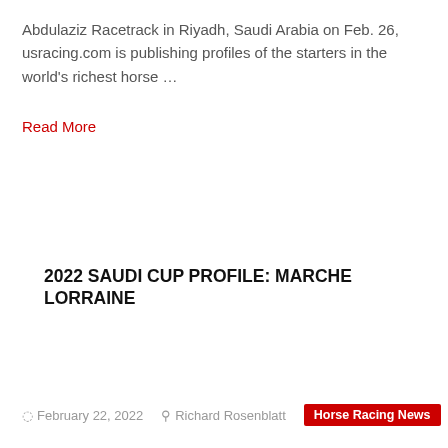Abdulaziz Racetrack in Riyadh, Saudi Arabia on Feb. 26, usracing.com is publishing profiles of the starters in the world's richest horse …
Read More
2022 SAUDI CUP PROFILE: MARCHE LORRAINE
February 22, 2022  Richard Rosenblatt  Horse Racing News